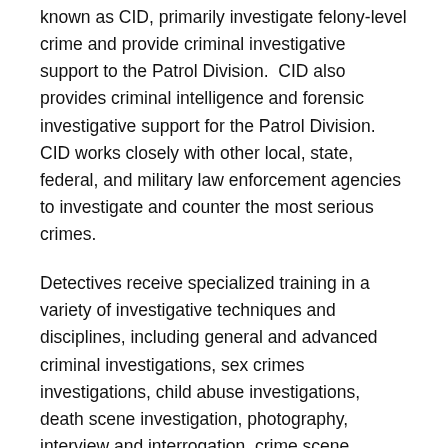known as CID, primarily investigate felony-level crime and provide criminal investigative support to the Patrol Division.  CID also provides criminal intelligence and forensic investigative support for the Patrol Division. CID works closely with other local, state, federal, and military law enforcement agencies to investigate and counter the most serious crimes.
Detectives receive specialized training in a variety of investigative techniques and disciplines, including general and advanced criminal investigations, sex crimes investigations, child abuse investigations, death scene investigation, photography, interview and interrogation, crime scene investigation, collection of physical evidence and cell phone and computer forensics.
Contacting CID
A person who has been a crime victim may contact...